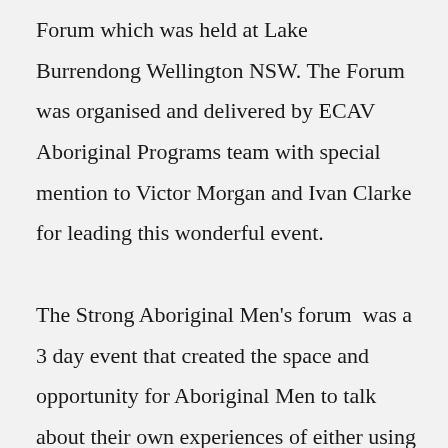Forum which was held at Lake Burrendong Wellington NSW. The Forum was organised and delivered by ECAV Aboriginal Programs team with special mention to Victor Morgan and Ivan Clarke for leading this wonderful event.

The Strong Aboriginal Men's forum was a 3 day event that created the space and opportunity for Aboriginal Men to talk about their own experiences of either using violence or being survivors of violence it was also an opportunity to talk about the changes they have made or are continuing to make to create safe environments for woman, children and their communities. The event also